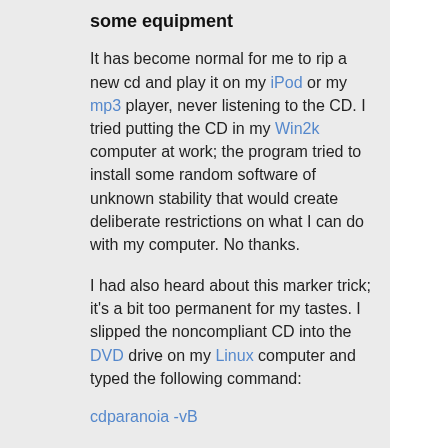some equipment
It has become normal for me to rip a new cd and play it on my iPod or my mp3 player, never listening to the CD. I tried putting the CD in my Win2k computer at work; the program tried to install some random software of unknown stability that would create deliberate restrictions on what I can do with my computer. No thanks.
I had also heard about this marker trick; it's a bit too permanent for my tastes. I slipped the noncompliant CD into the DVD drive on my Linux computer and typed the following command:
cdparanoia -vB